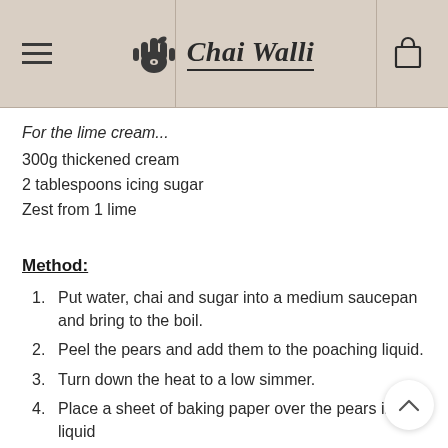Chai Walli
For the lime cream...
300g thickened cream
2 tablespoons icing sugar
Zest from 1 lime
Method:
1. Put water, chai and sugar into a medium saucepan and bring to the boil.
2. Peel the pears and add them to the poaching liquid.
3. Turn down the heat to a low simmer.
4. Place a sheet of baking paper over the pears in the liquid